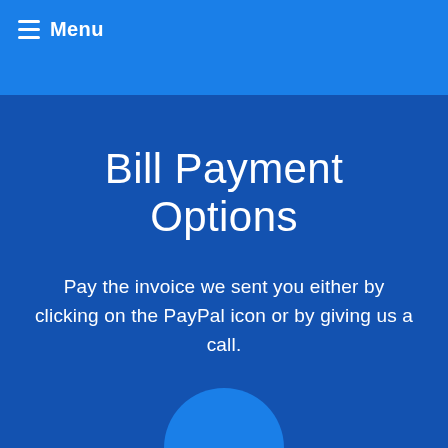Menu
Bill Payment Options
Pay the invoice we sent you either by clicking on the PayPal icon or by giving us a call.